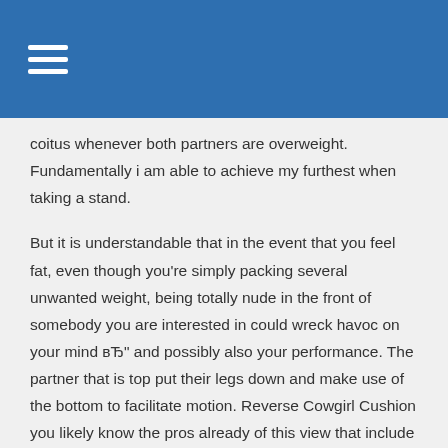coitus whenever both partners are overweight. Fundamentally i am able to achieve my furthest when taking a stand.
But it is understandable that in the event that you feel fat, even though you’re simply packing several unwanted weight, being totally nude in the front of somebody you are interested in could wreck havoc on your mind вЂ” and possibly also your performance. The partner that is top put their legs down and make use of the bottom to facilitate motion. Reverse Cowgirl Cushion you likely know the pros already of this view that include carrying it out in this place. You can look at various jobs that will have probably the most direct genital-to-genital contact. We give it to her taking a stand, which takes my gut out from the equation. Put in a pillow for leverage. Having